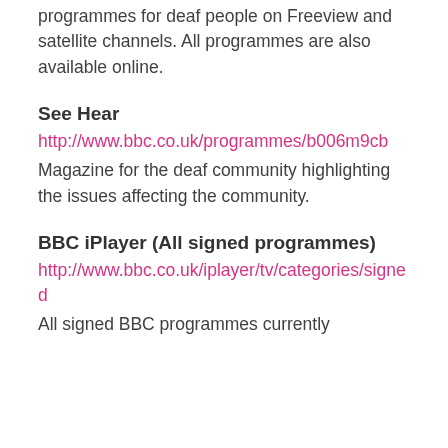programmes for deaf people on Freeview and satellite channels.  All programmes are also available online.
See Hear
http://www.bbc.co.uk/programmes/b006m9cb
Magazine for the deaf community highlighting the issues affecting the community.
BBC iPlayer (All signed programmes)
http://www.bbc.co.uk/iplayer/tv/categories/signed
All signed BBC programmes currently on iPlayer.